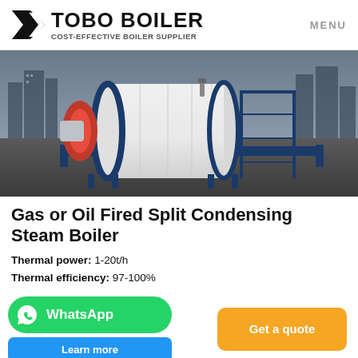TOBO BOILER COST-EFFECTIVE BOILER SUPPLIER | MENU
[Figure (photo): Industrial gas or oil fired split condensing steam boiler, white cylindrical body with blue frame, red burner on left side, photographed against urban skyline background]
Gas or Oil Fired Split Condensing Steam Boiler
Thermal power: 1-20t/h
Thermal efficiency: 97-100%
WhatsApp
Learn more
Get a quote